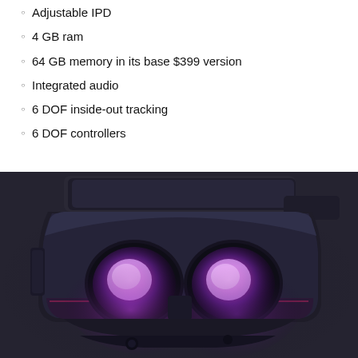Adjustable IPD
4 GB ram
64 GB memory in its base $399 version
Integrated audio
6 DOF inside-out tracking
6 DOF controllers
[Figure (photo): Oculus Quest VR headset shown from a low front angle against a dark background, with glowing purple/pink lenses visible]